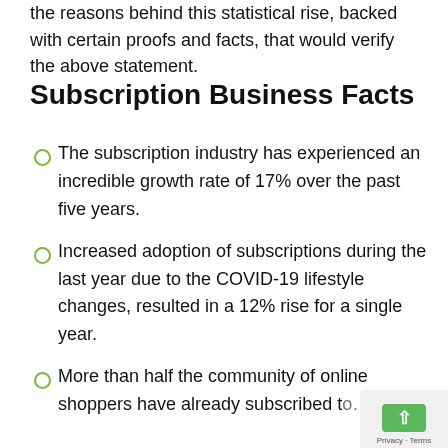the reasons behind this statistical rise, backed with certain proofs and facts, that would verify the above statement.
Subscription Business Facts
The subscription industry has experienced an incredible growth rate of 17% over the past five years.
Increased adoption of subscriptions during the last year due to the COVID-19 lifestyle changes, resulted in a 12% rise for a single year.
More than half the community of online shoppers have already subscribed to…